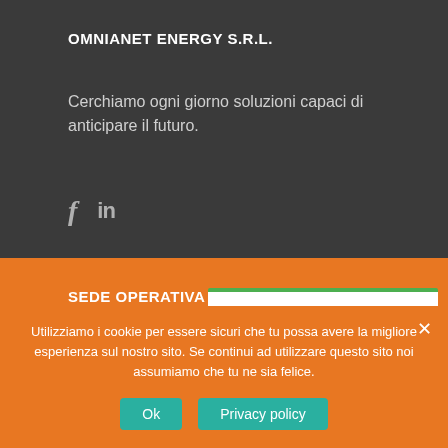OMNIANET ENERGY S.R.L.
Cerchiamo ogni giorno soluzioni capaci di anticipare il futuro.
[Figure (infographic): Facebook and LinkedIn social media icons in grey]
SEDE OPERATIVA
Via Tancredi Canonico 18/C, 10156 Torino (TO) Italy
Tel: +39 011-0379074
[Figure (screenshot): Google rating popup showing 'Valutazione di Google' with Google logo and 4.0 star rating]
Utilizziamo i cookie per essere sicuri che tu possa avere la migliore esperienza sul nostro sito. Se continui ad utilizzare questo sito noi assumiamo che tu ne sia felice.
Ok
Privacy policy
ORARIO